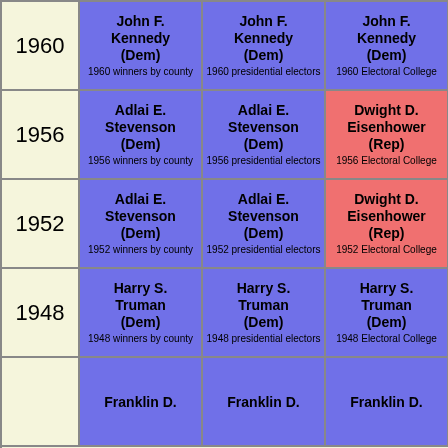| Year | Winners by County | Presidential Electors | Electoral College |
| --- | --- | --- | --- |
| 1960 | John F. Kennedy (Dem)
1960 winners by county | John F. Kennedy (Dem)
1960 presidential electors | John F. Kennedy (Dem)
1960 Electoral College |
| 1956 | Adlai E. Stevenson (Dem)
1956 winners by county | Adlai E. Stevenson (Dem)
1956 presidential electors | Dwight D. Eisenhower (Rep)
1956 Electoral College |
| 1952 | Adlai E. Stevenson (Dem)
1952 winners by county | Adlai E. Stevenson (Dem)
1952 presidential electors | Dwight D. Eisenhower (Rep)
1952 Electoral College |
| 1948 | Harry S. Truman (Dem)
1948 winners by county | Harry S. Truman (Dem)
1948 presidential electors | Harry S. Truman (Dem)
1948 Electoral College |
|  | Franklin D. | Franklin D. | Franklin D. |